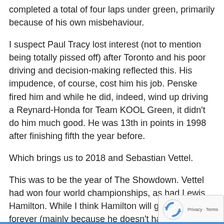completed a total of four laps under green, primarily because of his own misbehaviour.
I suspect Paul Tracy lost interest (not to mention being totally pissed off) after Toronto and his poor driving and decision-making reflected this. His impudence, of course, cost him his job. Penske fired him and while he did, indeed, wind up driving a Reynard-Honda for Team KOOL Green, it didn't do him much good. He was 13th in points in 1998 after finishing fifth the year before.
Which brings us to 2018 and Sebastian Vettel.
This was to be the year of The Showdown. Vettel had won four world championships, as had Lewis Hamilton. While I think Hamilton will go on driving forever (mainly because he doesn't have much else going on in his life beyond celebrity), I had a feeling that if Vettel won his fifth title defeating Lewis in the process, he would retire to his and children and his – reportedly – happy home life.